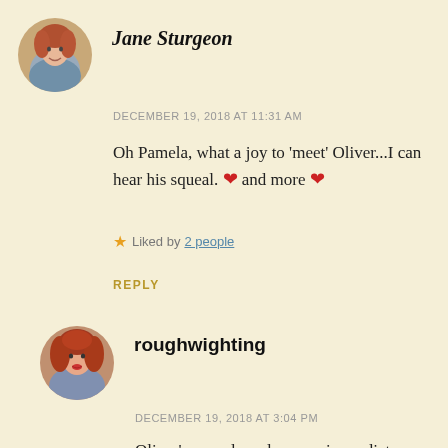[Figure (photo): Circular avatar photo of Jane Sturgeon, a woman with reddish hair]
Jane Sturgeon
DECEMBER 19, 2018 AT 11:31 AM
Oh Pamela, what a joy to 'meet' Oliver...I can hear his squeal. ❤ and more ❤
Liked by 2 people
REPLY
[Figure (photo): Circular avatar photo of roughwighting, a woman with reddish/auburn hair]
roughwighting
DECEMBER 19, 2018 AT 3:04 PM
Oliver's squeal produces an immediate